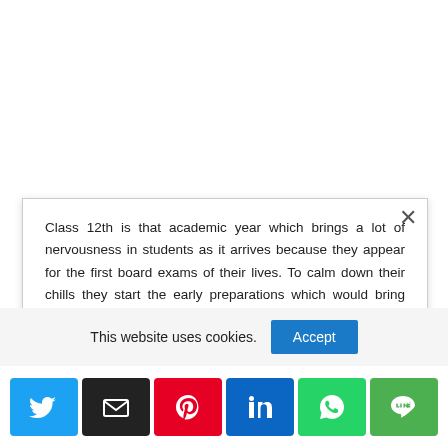Class 12th is that academic year which brings a lot of nervousness in students as it arrives because they appear for the first board exams of their lives. To calm down their chills they start the early preparations which would bring ease for the whole session.

Preparations start by looking for the updated Maharashtra Board Class 12th Organisation of Commerce and Management Syllabus. Generally, students search for it on
This website uses cookies.
Accept